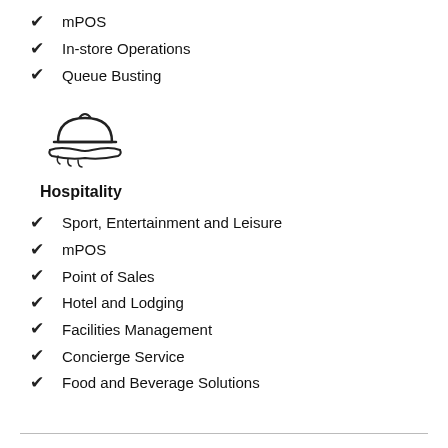mPOS
In-store Operations
Queue Busting
[Figure (illustration): Hospitality icon: a cloche/serving dish with a hand holding it from below]
Hospitality
Sport, Entertainment and Leisure
mPOS
Point of Sales
Hotel and Lodging
Facilities Management
Concierge Service
Food and Beverage Solutions